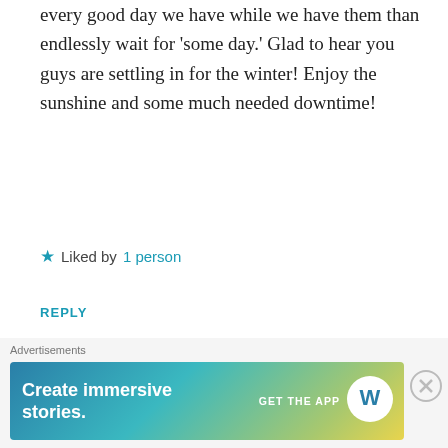every good day we have while we have them than endlessly wait for 'some day.' Glad to hear you guys are settling in for the winter! Enjoy the sunshine and some much needed downtime!
Liked by 1 person
REPLY
[Figure (illustration): Circular avatar icon with green geometric/quilt pattern for user our38ftlife]
our38ftlife
DECEMBER 2, 2018 AT 3:29 AM
Thanks Laura, I appreciate your kind
Advertisements
[Figure (screenshot): WordPress advertisement banner: 'Create immersive stories. GET THE APP' with WordPress logo, gradient background teal to yellow]